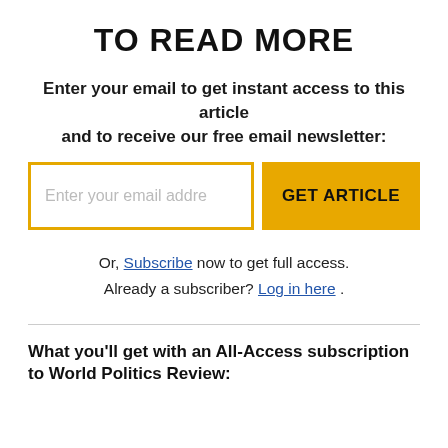TO READ MORE
Enter your email to get instant access to this article and to receive our free email newsletter:
Enter your email addre  |  GET ARTICLE
Or, Subscribe now to get full access. Already a subscriber? Log in here .
What you'll get with an All-Access subscription to World Politics Review: